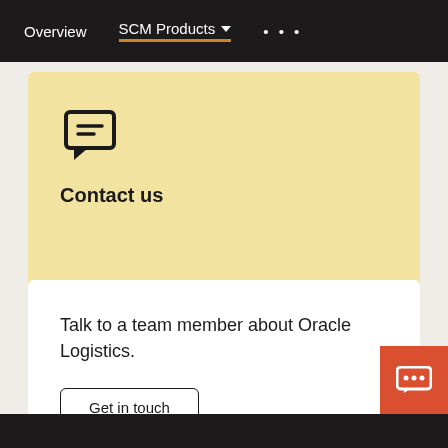Overview   SCM Products ▾   • • •
[Figure (illustration): Speech bubble / chat message icon in black outline on beige background]
Contact us
Talk to a team member about Oracle Logistics.
Get in touch